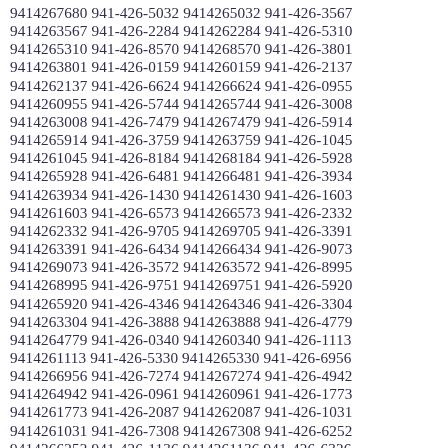9414267680 941-426-5032 9414265032 941-426-3567 9414263567 941-426-2284 9414262284 941-426-5310 9414265310 941-426-8570 9414268570 941-426-3801 9414263801 941-426-0159 9414260159 941-426-2137 9414262137 941-426-6624 9414266624 941-426-0955 9414260955 941-426-5744 9414265744 941-426-3008 9414263008 941-426-7479 9414267479 941-426-5914 9414265914 941-426-3759 9414263759 941-426-1045 9414261045 941-426-8184 9414268184 941-426-5928 9414265928 941-426-6481 9414266481 941-426-3934 9414263934 941-426-1430 9414261430 941-426-1603 9414261603 941-426-6573 9414266573 941-426-2332 9414262332 941-426-9705 9414269705 941-426-3391 9414263391 941-426-6434 9414266434 941-426-9073 9414269073 941-426-3572 9414263572 941-426-8995 9414268995 941-426-9751 9414269751 941-426-5920 9414265920 941-426-4346 9414264346 941-426-3304 9414263304 941-426-3888 9414263888 941-426-4779 9414264779 941-426-0340 9414260340 941-426-1113 9414261113 941-426-5330 9414265330 941-426-6956 9414266956 941-426-7274 9414267274 941-426-4942 9414264942 941-426-0961 9414260961 941-426-1773 9414261773 941-426-2087 9414262087 941-426-1031 9414261031 941-426-7308 9414267308 941-426-6252 9414266252 941-426-1136 9414261136 941-426-6326